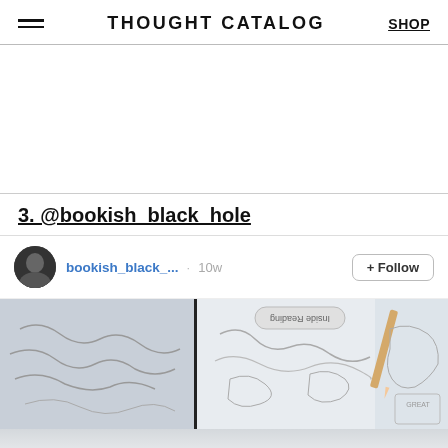THOUGHT CATALOG | SHOP
3. @bookish_black_hole
[Figure (screenshot): Instagram post card for bookish_black_ account showing username, 10w timestamp, +Follow button, and a photo of illustrated book maps/sketches on paper]
[Figure (photo): Instagram post image showing hand-drawn book map sketches on white paper with a pencil, light blue tones]